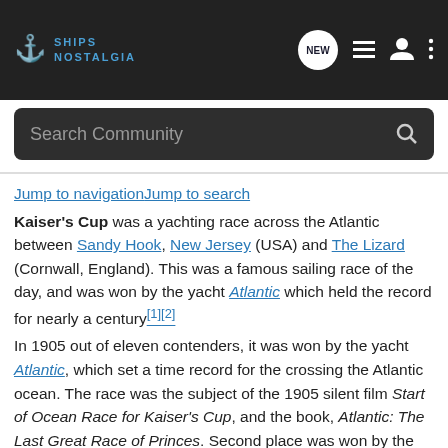SHIPS NOSTALGIA
Search Community
Jump to navigationJump to search
Kaiser's Cup was a yachting race across the Atlantic between Sandy Hook, New Jersey (USA) and The Lizard (Cornwall, England). This was a famous sailing race of the day, and was won by the yacht Atlantic which held the record for nearly a century[1][2]
In 1905 out of eleven contenders, it was won by the yacht Atlantic, which set a time record for the crossing the Atlantic ocean. The race was the subject of the 1905 silent film Start of Ocean Race for Kaiser's Cup, and the book, Atlantic: The Last Great Race of Princes. Second place was won by the yacht Hamburg. Third place went to the RSY Valhalla who despite being by far the largest participant, came in a respectable "easy third". She crossed the Atlantic under sail in 14 days and 2 hours [3]